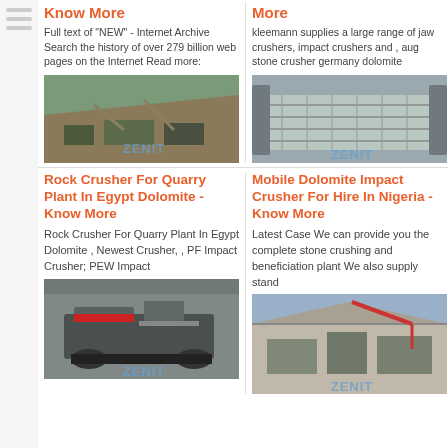Know More
Full text of "NEW" - Internet Archive Search the history of over 279 billion web pages on the Internet Read more:
[Figure (photo): Aerial view of a quarry or mining site with heavy machinery and conveyor belts on a hillside, with ZENIT watermark]
More
kleemann supplies a large range of jaw crushers, impact crushers and , aug stone crusher germany dolomite
[Figure (photo): Industrial metal grating or conveyor equipment from a crushing plant, with ZENIT watermark]
Rock Crusher For Quarry Plant In Egypt Dolomite - Know More
Rock Crusher For Quarry Plant In Egypt Dolomite , Newest Crusher, , PF Impact Crusher; PEW Impact
[Figure (photo): Large tracked mobile crusher machine in a factory or warehouse, with ZENIT watermark]
Mobile Dolomite Impact Crusher For Hire In Nigeria - Know More
Latest Case We can provide you the complete stone crushing and beneficiation plant We also supply stand
[Figure (photo): Industrial crushing plant facility with multiple machines inside a large building, with ZENIT watermark]